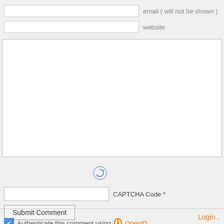[Figure (screenshot): Web comment form with email input field and label 'email ( will not be shown )']
[Figure (screenshot): Web comment form with website input field and label 'website']
[Figure (screenshot): Large textarea for comment body]
[Figure (screenshot): CAPTCHA refresh icon (circular arrows)]
CAPTCHA Code *
[Figure (screenshot): Submit Comment button]
Authenticate this comment using OpenID.
Login .